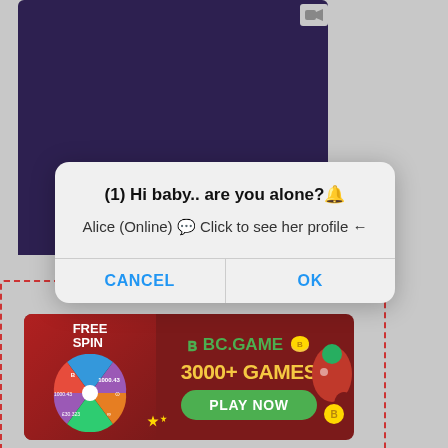[Figure (screenshot): Dark purple video stream area at top of screen]
[Figure (screenshot): Mobile OS alert dialog with title '(1) Hi baby.. are you alone?🔔', subtitle 'Alice (Online) 💬 Click to see her profile ←', and CANCEL / OK buttons]
[Figure (screenshot): BC.GAME advertisement banner showing 'FREE SPIN', 'BC.GAME', '3000+ GAMES', 'PLAY NOW' button with a spin wheel and game characters, inside a red dashed border box with × close button]